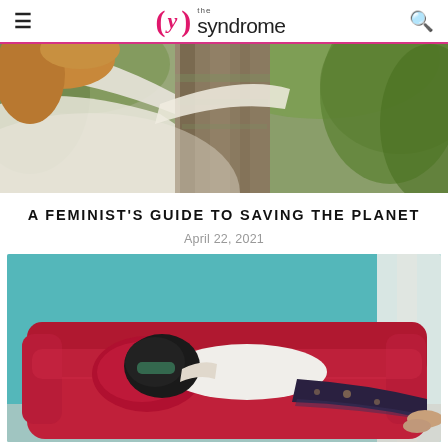the syndrome
[Figure (photo): Woman with curly red hair wearing white sweater hugging a tree trunk, with greenery in the background]
A FEMINIST'S GUIDE TO SAVING THE PLANET
April 22, 2021
[Figure (photo): Young child lying on a red plush sofa with teal wall in background, wearing white shirt and dark patterned pants]